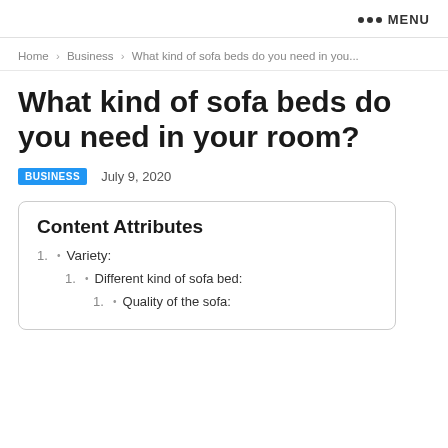••• MENU
Home › Business › What kind of sofa beds do you need in you...
What kind of sofa beds do you need in your room?
BUSINESS   July 9, 2020
Content Attributes
1. Variety:
1. Different kind of sofa bed:
1. Quality of the sofa: